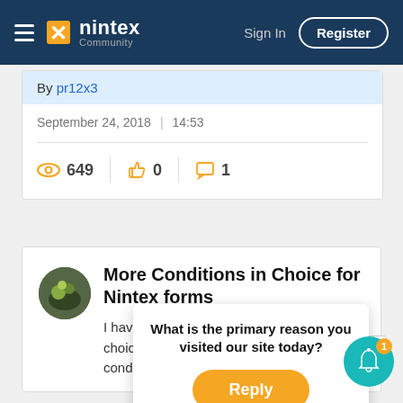nintex Community — Sign In | Register
By pr12x3
September 24, 2018 | 14:53
649 views, 0 likes, 1 comment
More Conditions in Choice for Nintex forms
I have one forms and i need hide one choice for group, i'm use this following conditi…-Not(fn-
What is the primary reason you visited our site today?
Reply